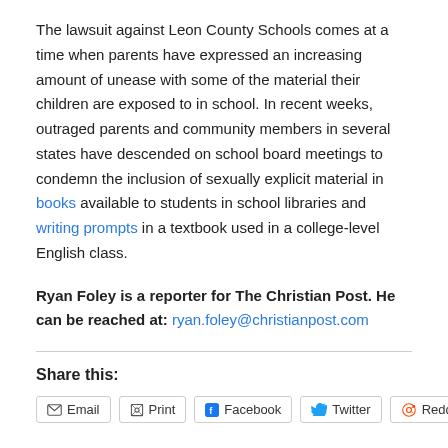The lawsuit against Leon County Schools comes at a time when parents have expressed an increasing amount of unease with some of the material their children are exposed to in school. In recent weeks, outraged parents and community members in several states have descended on school board meetings to condemn the inclusion of sexually explicit material in books available to students in school libraries and writing prompts in a textbook used in a college-level English class.
Ryan Foley is a reporter for The Christian Post. He can be reached at: ryan.foley@christianpost.com
Share this: